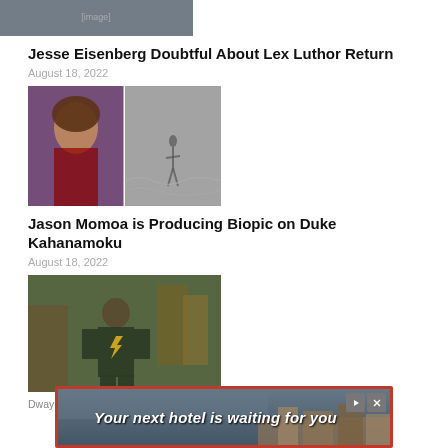[Figure (photo): Top partial image of a TV show/movie scene, partially cropped]
Jesse Eisenberg Doubtful About Lex Luthor Return
August 18, 2022
[Figure (photo): Two-panel image: Jason Momoa portrait on the left, black-and-white vintage photo of a surfer on the right]
Jason Momoa is Producing Biopic on Duke Kahanamoku
August 18, 2022
[Figure (photo): Movie still showing a muscular man in a superhero costume (Black Adam) walking through a scene]
Dway... U
[Figure (infographic): Advertisement banner: 'Your next hotel is waiting for you' with hotel image background, red border, play and close buttons]